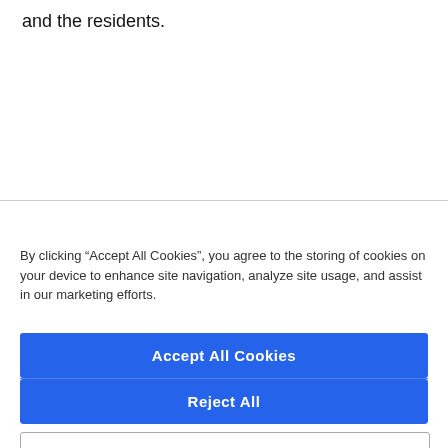and the residents.
By clicking “Accept All Cookies”, you agree to the storing of cookies on your device to enhance site navigation, analyze site usage, and assist in our marketing efforts.
Accept All Cookies
Reject All
Cookies Settings